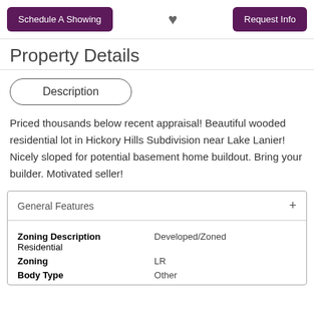Schedule A Showing | [heart] | Request Info
Property Details
Description
Priced thousands below recent appraisal! Beautiful wooded residential lot in Hickory Hills Subdivision near Lake Lanier! Nicely sloped for potential basement home buildout. Bring your builder. Motivated seller!
General Features
| Feature | Value |
| --- | --- |
| Zoning Description
Residential | Developed/Zoned |
| Zoning | LR |
| Body Type | Other |